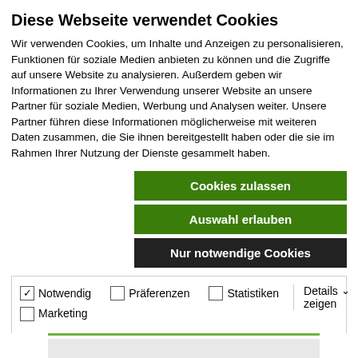Diese Webseite verwendet Cookies
Wir verwenden Cookies, um Inhalte und Anzeigen zu personalisieren, Funktionen für soziale Medien anbieten zu können und die Zugriffe auf unsere Website zu analysieren. Außerdem geben wir Informationen zu Ihrer Verwendung unserer Website an unsere Partner für soziale Medien, Werbung und Analysen weiter. Unsere Partner führen diese Informationen möglicherweise mit weiteren Daten zusammen, die Sie ihnen bereitgestellt haben oder die sie im Rahmen Ihrer Nutzung der Dienste gesammelt haben.
Cookies zulassen
Auswahl erlauben
Nur notwendige Cookies
Notwendig  Präferenzen  Statistiken  Marketing  Details zeigen
[Figure (screenshot): Book cover: BASIS FOR BUSINESS B2 by Carole Eilertson and Mike Hogan, green background with white text. Partially visible below the cookie banner.]